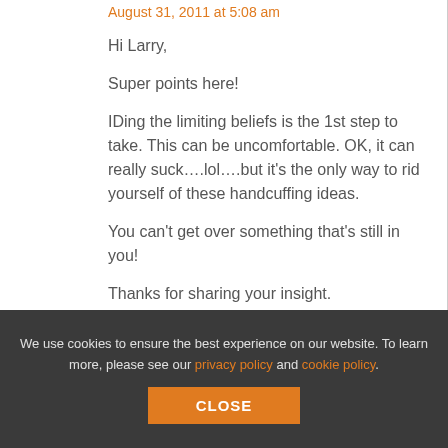August 31, 2011 at 5:08 am
Hi Larry,
Super points here!
IDing the limiting beliefs is the 1st step to take. This can be uncomfortable. OK, it can really suck….lol….but it's the only way to rid yourself of these handcuffing ideas.
You can't get over something that's still in you!
Thanks for sharing your insight.
BB
We use cookies to ensure the best experience on our website. To learn more, please see our privacy policy and cookie policy.